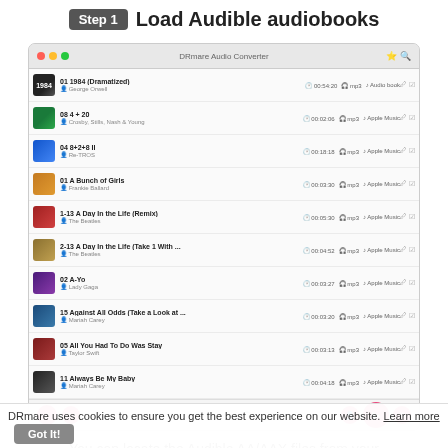Step 1   Load Audible audiobooks
[Figure (screenshot): Screenshot of DRmare Audio Converter application showing a list of audio tracks including 1984 (Dramatized), 4+20, 8+2+8 II, A Bunch Girls, A Day In the Life (Remix), A Day In the Life (Take 1 With...), A-Yo, Against All Odds (Take a Look at...), All You Had To Do Was Stay, Always Be My Baby, with metadata columns showing duration, format (mp3), and source (Audio book / Apple Music). Pink circular buttons at bottom for adding music and converting.]
You can locate the Audible AA/AAX files from your local computer folder or iTunes, then you can drag &
DRmare uses cookies to ensure you get the best experience on our website. Learn more   Got It!